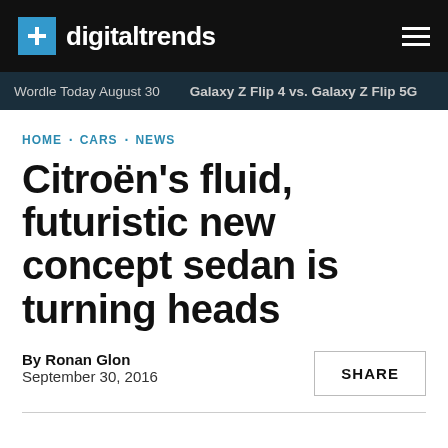digitaltrends
Wordle Today August 30  Galaxy Z Flip 4 vs. Galaxy Z Flip 5G
HOME · CARS · NEWS
Citroën's fluid, futuristic new concept sedan is turning heads
By Ronan Glon
September 30, 2016
SHARE